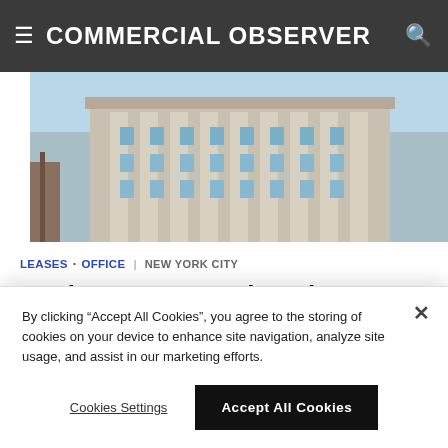COMMERCIAL OBSERVER
[Figure (photo): Exterior photograph of a large ornate classical-style building with columns and many windows against a blue sky]
LEASES · OFFICE | NEW YORK CITY
Design Agency Relocating to 12K SF in Gramercy Park From Flatiron District
You have 2 free articles remaining. Become a Basic Member for unlimited access to recent articles with a free account.
By clicking "Accept All Cookies", you agree to the storing of cookies on your device to enhance site navigation, analyze site usage, and assist in our marketing efforts.
Cookies Settings
Accept All Cookies